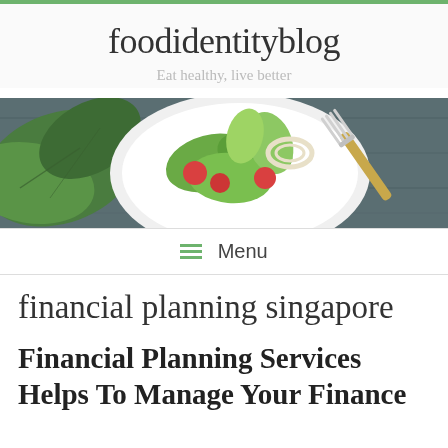foodidentityblog
Eat healthy, live better
[Figure (photo): Overhead photo of a white bowl of salad with green leaves, tomatoes, herbs, and a fork, on a wooden table]
≡ Menu
financial planning singapore
Financial Planning Services Helps To Manage Your Finance